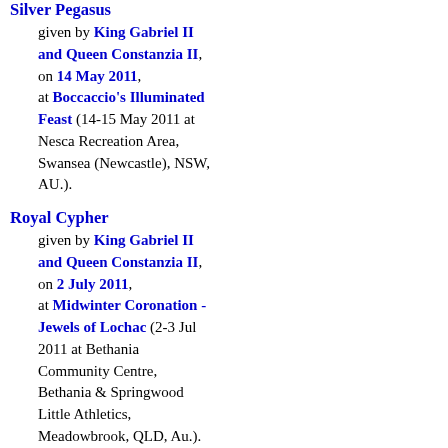Silver Pegasus
given by King Gabriel II and Queen Constanzia II, on 14 May 2011, at Boccaccio's Illuminated Feast (14-15 May 2011 at Nesca Recreation Area, Swansea (Newcastle), NSW, AU.).
Royal Cypher
given by King Gabriel II and Queen Constanzia II, on 2 July 2011, at Midwinter Coronation - Jewels of Lochac (2-3 Jul 2011 at Bethania Community Centre, Bethania & Springwood Little Athletics, Meadowbrook, QLD, Au.).
Red Wyvern
given by King Niáll I and Queen Liadan I, on 5 October 2013,